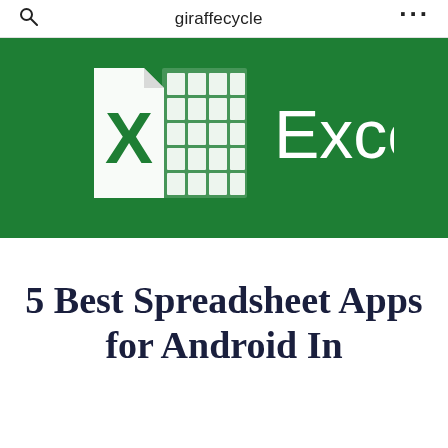giraffecycle
[Figure (logo): Microsoft Excel logo on a dark green background. White folded page icon with a green X letter, and a green spreadsheet grid icon, followed by the word 'Excel' in white text.]
5 Best Spreadsheet Apps for Android In